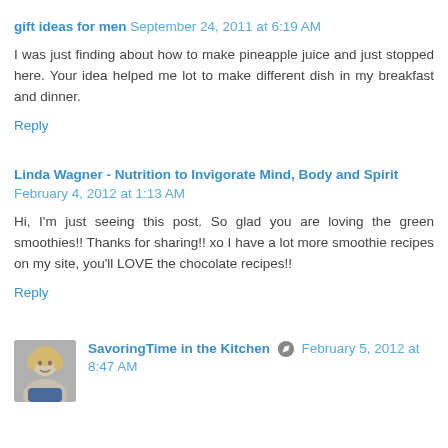gift ideas for men  September 24, 2011 at 6:19 AM
I was just finding about how to make pineapple juice and just stopped here. Your idea helped me lot to make different dish in my breakfast and dinner.
Reply
Linda Wagner - Nutrition to Invigorate Mind, Body and Spirit  February 4, 2012 at 1:13 AM
Hi, I'm just seeing this post. So glad you are loving the green smoothies!! Thanks for sharing!! xo I have a lot more smoothie recipes on my site, you'll LOVE the chocolate recipes!!
Reply
SavoringTime in the Kitchen  February 5, 2012 at 8:47 AM